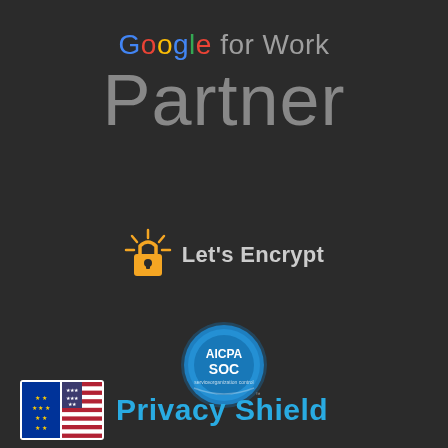[Figure (logo): Google for Work Partner logo with multicolored Google text and grey Partner text on dark background]
[Figure (logo): Let's Encrypt logo with padlock icon with sun rays and text 'Let's Encrypt']
[Figure (logo): AICPA SOC certification badge, circular blue badge with text AICPA SOC]
[Figure (logo): Privacy Shield logo with EU-US flag icon and blue text 'Privacy Shield']